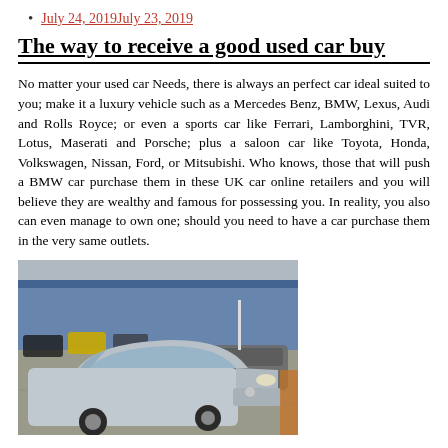July 24, 2019July 23, 2019
The way to receive a good used car buy
No matter your used car Needs, there is always an perfect car ideal suited to you; make it a luxury vehicle such as a Mercedes Benz, BMW, Lexus, Audi and Rolls Royce; or even a sports car like Ferrari, Lamborghini, TVR, Lotus, Maserati and Porsche; plus a saloon car like Toyota, Honda, Volkswagen, Nissan, Ford, or Mitsubishi. Who knows, those that will push a BMW car purchase them in these UK car online retailers and you will believe they are wealthy and famous for possessing you. In reality, you also can even manage to own one; should you need to have a car purchase them in the very same outlets.
[Figure (photo): A silver sedan (Acura TL) in a used car lot with other vehicles and a building in the background]